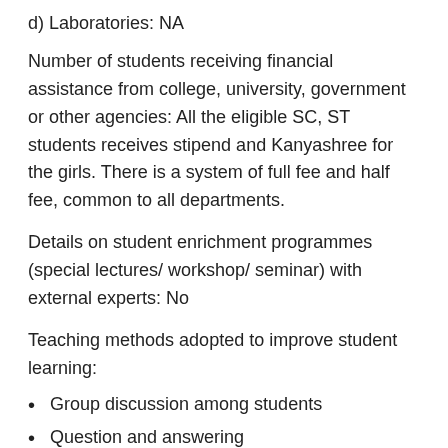d) Laboratories: NA
Number of students receiving financial assistance from college, university, government or other agencies: All the eligible SC, ST students receives stipend and Kanyashree for the girls. There is a system of full fee and half fee, common to all departments.
Details on student enrichment programmes (special lectures/ workshop/ seminar) with external experts: No
Teaching methods adopted to improve student learning:
Group discussion among students
Question and answering
Students are asked to regular assignments and asked to use the internet facility for extra information
Take quiz.
The students are encouraged to take weekly tests.
Assignments